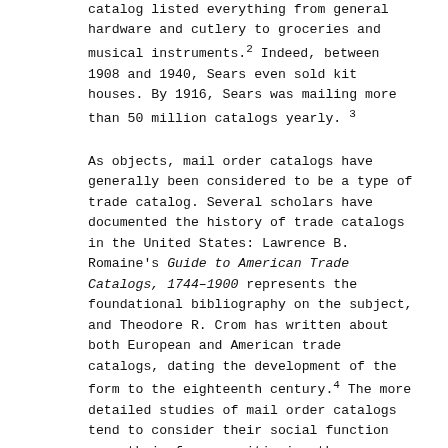catalog listed everything from general hardware and cutlery to groceries and musical instruments.2 Indeed, between 1908 and 1940, Sears even sold kit houses. By 1916, Sears was mailing more than 50 million catalogs yearly. 3
As objects, mail order catalogs have generally been considered to be a type of trade catalog. Several scholars have documented the history of trade catalogs in the United States: Lawrence B. Romaine's Guide to American Trade Catalogs, 1744–1900 represents the foundational bibliography on the subject, and Theodore R. Crom has written about both European and American trade catalogs, dating the development of the form to the eighteenth century.4 The more detailed studies of mail order catalogs tend to consider their social function over their form, positioning them as primary sources for histories of nineteenth-century American consumer culture. However, mail order catalogs represent a distinct category of books; the particular circumstances of their